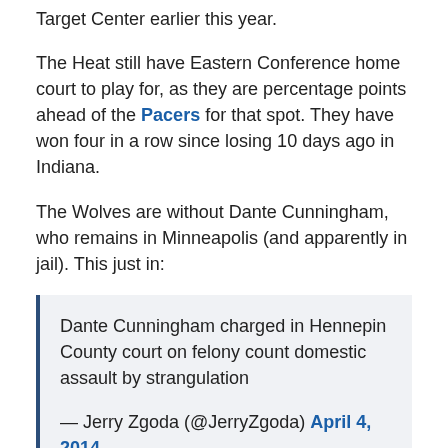Target Center earlier this year.
The Heat still have Eastern Conference home court to play for, as they are percentage points ahead of the Pacers for that spot. They have won four in a row since losing 10 days ago in Indiana.
The Wolves are without Dante Cunningham, who remains in Minneapolis (and apparently in jail). This just in:
Dante Cunningham charged in Hennepin County court on felony count domestic assault by strangulation
— Jerry Zgoda (@JerryZgoda) April 4, 2014